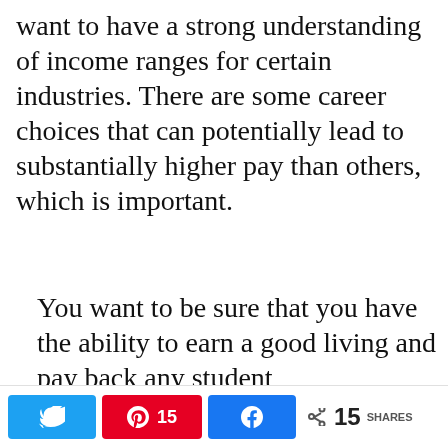want to have a strong understanding of income ranges for certain industries. There are some career choices that can potentially lead to substantially higher pay than others, which is important.
You want to be sure that you have the ability to earn a good living and pay back any student
Twitter share | Pinterest 15 | Facebook share | < 15 SHARES